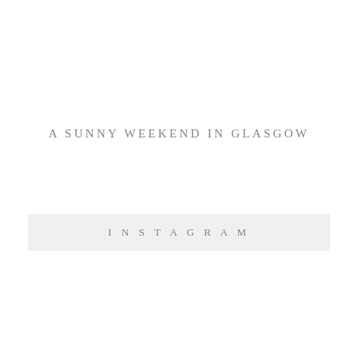A SUNNY WEEKEND IN GLASGOW
INSTAGRAM